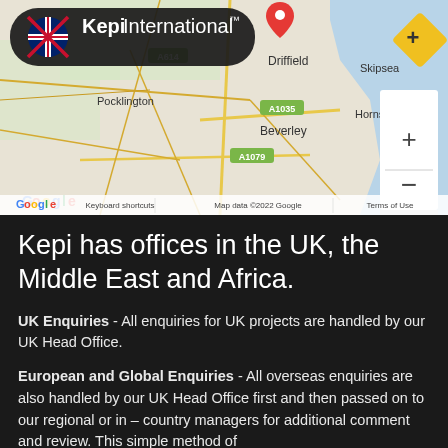[Figure (map): Google Maps screenshot showing East Yorkshire area in the UK, with a red pin marker near Driffield. Shows roads including A614, A1035, A1079, and towns including Pocklington, Skipsea, Hornsea, Beverley. Kepi International logo overlay in top-left with UK flag icon. Zoom controls and Google branding visible. Map data ©2022 Google.]
Kepi has offices in the UK, the Middle East and Africa.
UK Enquiries - All enquiries for UK projects are handled by our UK Head Office.
European and Global Enquiries - All overseas enquiries are also handled by our UK Head Office first and then passed on to our regional or in – country managers for additional comment and review. This simple method of